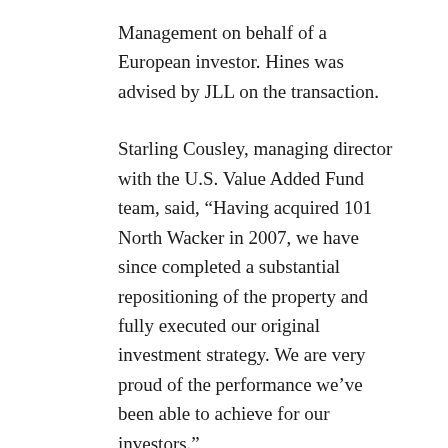Management on behalf of a European investor. Hines was advised by JLL on the transaction.
Starling Cousley, managing director with the U.S. Value Added Fund team, said, “Having acquired 101 North Wacker in 2007, we have since completed a substantial repositioning of the property and fully executed our original investment strategy. We are very proud of the performance we’ve been able to achieve for our investors.”
Michael Kaiser, vice president in Hines’ Midwest Region, commented, “We are